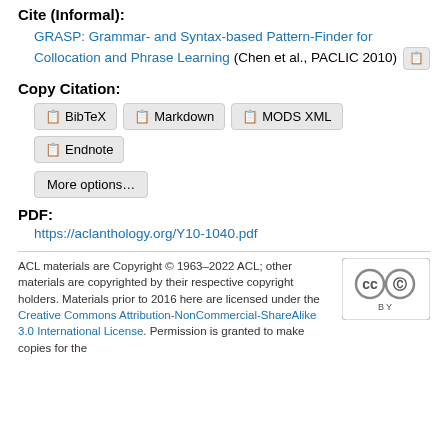Cite (Informal):
GRASP: Grammar- and Syntax-based Pattern-Finder for Collocation and Phrase Learning (Chen et al., PACLIC 2010)
Copy Citation:
BibTeX   Markdown   MODS XML   Endnote   More options...
PDF:
https://aclanthology.org/Y10-1040.pdf
ACL materials are Copyright © 1963–2022 ACL; other materials are copyrighted by their respective copyright holders. Materials prior to 2016 here are licensed under the Creative Commons Attribution-NonCommercial-ShareAlike 3.0 International License. Permission is granted to make copies for the